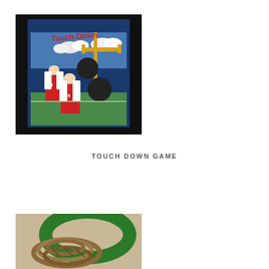[Figure (photo): Touch Down Game - a carnival-style cutout board showing two football players in red uniforms with holes for faces, set against a football field background with goal posts and 'Touch Down' text at the top, placed against a black curtain backdrop]
TOUCH DOWN GAME
[Figure (photo): Close-up photo of coiled thick rope next to a green circular ring/hoop, sitting on carpet - appears to be a rope toss or lasso game]